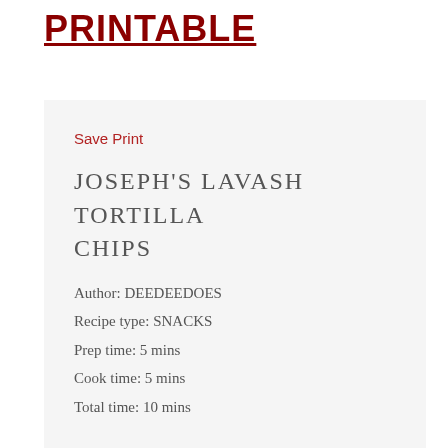PRINTABLE
Save Print
JOSEPH'S LAVASH TORTILLA CHIPS
Author: DEEDEEDOES
Recipe type: SNACKS
Prep time: 5 mins
Cook time: 5 mins
Total time: 10 mins
Whenever you want a snack of tortilla chips and salsa, don't use your points up on a handful of store bought tortilla